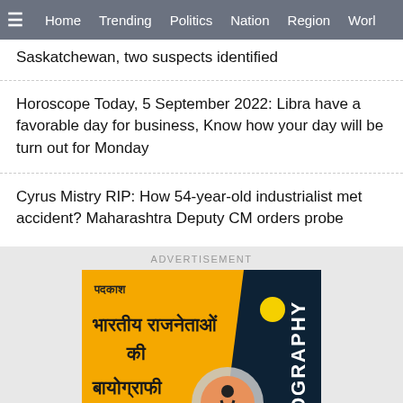≡  Home  Trending  Politics  Nation  Region  Worl
Saskatchewan, two suspects identified
Horoscope Today, 5 September 2022: Libra have a favorable day for business, Know how your day will be turn out for Monday
Cyrus Mistry RIP: How 54-year-old industrialist met accident? Maharashtra Deputy CM orders probe
ADVERTISEMENT
[Figure (illustration): Advertisement banner for a Hindi biography book by publisher 'पदकाश' (Padkash). Yellow and dark navy background with Hindi text 'भारतीय राजनेताओं की बायोग्राफी' (Biography of Indian Politicians) and the word 'BIOGRAPHY' in vertical white text on the right side. Features circular design elements and a silhouette figure.]